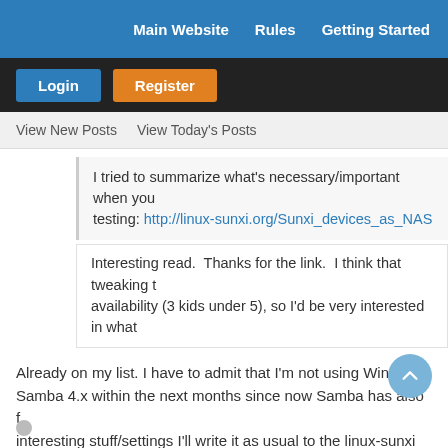Main Website   Rules   Getting Started
Login   Register
View New Posts   View Today's Posts
I tried to summarize what's necessary/important when you testing: http://linux-sunxi.org/Sunxi_devices_as_NAS
Interesting read.  Thanks for the link.  I think that tweaking t availability (3 kids under 5), so I'd be very interested in what
Already on my list. I have to admit that I'm not using Windows Samba 4.x within the next months since now Samba has also f interesting stuff/settings I'll write it as usual to the linux-sunxi belongs to)
Armbian for Pine64+ | Pine64 in linux-sunxi wiki